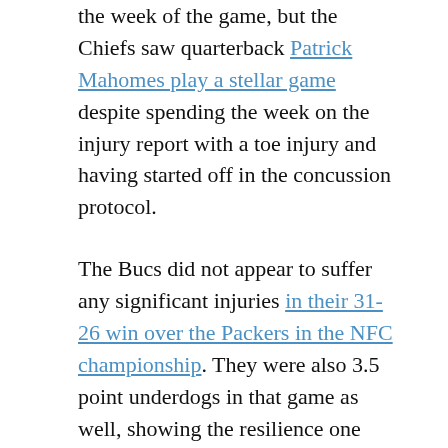the week of the game, but the Chiefs saw quarterback Patrick Mahomes play a stellar game despite spending the week on the injury report with a toe injury and having started off in the concussion protocol.
The Bucs did not appear to suffer any significant injuries in their 31-26 win over the Packers in the NFC championship. They were also 3.5 point underdogs in that game as well, showing the resilience one might expect when a team is led by a six-time Super Bowl champion (Tom Brady, who will be making his 10th Super Bowl appearance). The Bucs are the first team to play a Super Bowl in their home stadium.